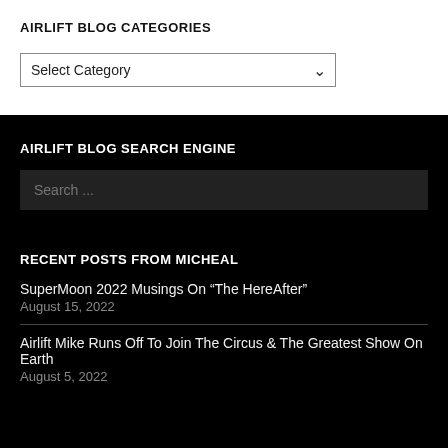AIRLIFT BLOG CATEGORIES
Select Category
AIRLIFT BLOG SEARCH ENGINE
Search ...
RECENT POSTS FROM MICHEAL
SuperMoon 2022 Musings On “The HereAfter”
August 15, 2022
Airlift Mike Runs Off To Join The Circus & The Greatest Show On Earth
August 5, 2022